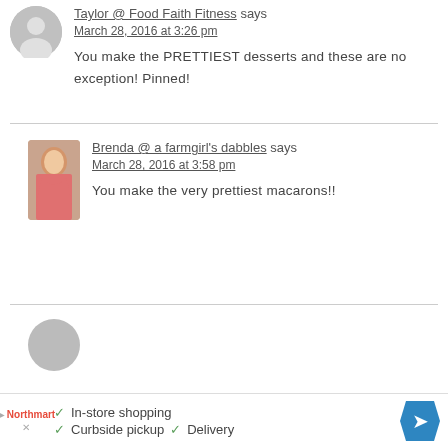Taylor @ Food Faith Fitness says
March 28, 2016 at 3:26 pm
You make the PRETTIEST desserts and these are no exception! Pinned!
Brenda @ a farmgirl's dabbles says
March 28, 2016 at 3:58 pm
You make the very prettiest macarons!!